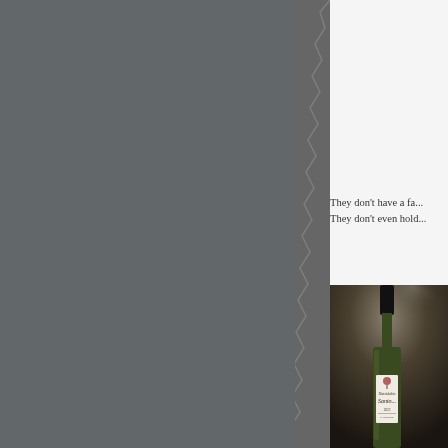[Figure (photo): Left portion of a two-panel layout: a dark grey torn-paper textured background filling approximately the left two-thirds of the page.]
They don't have a fa...
They don't even hold...
[Figure (photo): A person holding a green wine bottle labeled 'Santorini' against a dark blurred background. Only the right portion of the image is visible.]